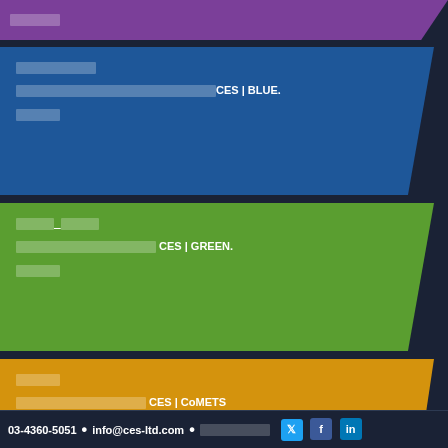[redacted]
[redacted]
[redacted] CES | BLUE.
[redacted]
[redacted] [redacted]
[redacted] CES | GREEN.
[redacted]
[redacted]
[redacted] CES | CoMETS
[redacted]
03-4360-5051 • info@ces-ltd.com • [redacted]